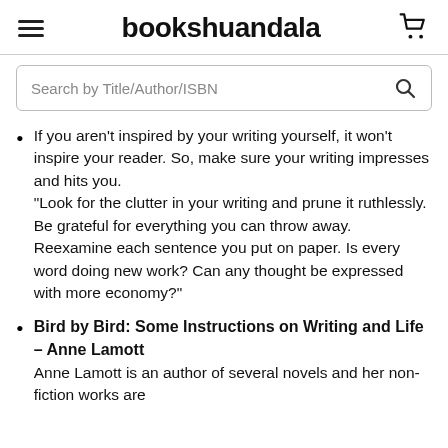bookshuandala
If you aren't inspired by your writing yourself, it won't inspire your reader. So, make sure your writing impresses and hits you. “Look for the clutter in your writing and prune it ruthlessly. Be grateful for everything you can throw away. Reexamine each sentence you put on paper. Is every word doing new work? Can any thought be expressed with more economy?”
Bird by Bird: Some Instructions on Writing and Life – Anne Lamott
Anne Lamott is an author of several novels and her non-fiction works are